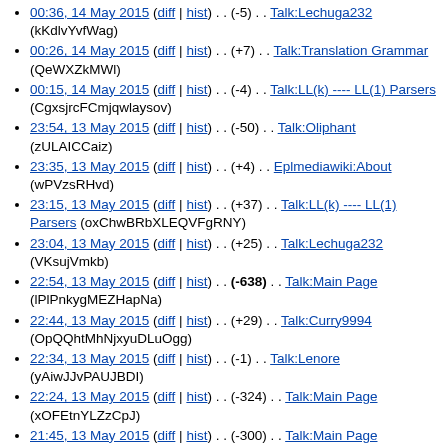00:36, 14 May 2015 (diff | hist) . . (-5) . . Talk:Lechuga232 (kKdlvYvfWag)
00:26, 14 May 2015 (diff | hist) . . (+7) . . Talk:Translation Grammar (QeWXZkMWl)
00:15, 14 May 2015 (diff | hist) . . (-4) . . Talk:LL(k) ---- LL(1) Parsers (CgxsjrcFCmjqwlaysov)
23:54, 13 May 2015 (diff | hist) . . (-50) . . Talk:Oliphant (zULAICCaiz)
23:35, 13 May 2015 (diff | hist) . . (+4) . . Eplmediawiki:About (wPVzsRHvd)
23:15, 13 May 2015 (diff | hist) . . (+37) . . Talk:LL(k) ---- LL(1) Parsers (oxChwBRbXLEQVFgRNY)
23:04, 13 May 2015 (diff | hist) . . (+25) . . Talk:Lechuga232 (VKsujVmkb)
22:54, 13 May 2015 (diff | hist) . . (-638) . . Talk:Main Page (lPlPnkygMEZHapNa)
22:44, 13 May 2015 (diff | hist) . . (+29) . . Talk:Curry9994 (OpQQhtMhNjxyuDLuOgg)
22:34, 13 May 2015 (diff | hist) . . (-1) . . Talk:Lenore (yAiwJJvPAUJBDI)
22:24, 13 May 2015 (diff | hist) . . (-324) . . Talk:Main Page (xOFEtnYLZzCpJ)
21:45, 13 May 2015 (diff | hist) . . (-300) . . Talk:Main Page (PmlsEfUSp)
(Latest | Earliest) View (newer 50 | older 50) (20 | 50 | 100 | 250 |